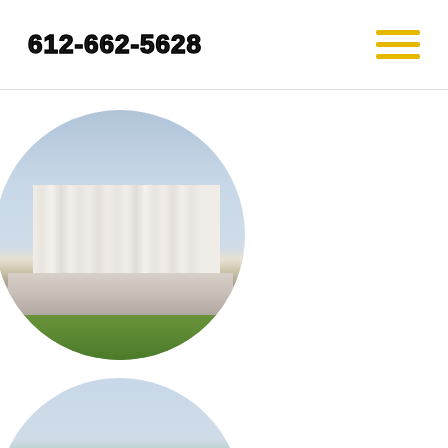612-662-5628
[Figure (photo): Circular photo of a courthouse with white columns, steps, statues, and green lawn in foreground]
[Figure (photo): Circular photo of a city skyline viewed across a blue lake with green tree line in foreground — Minneapolis lakefront view]